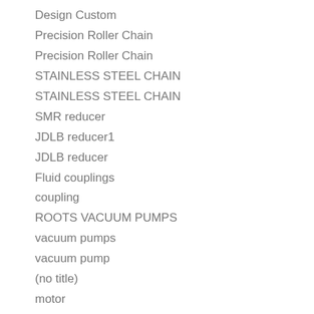Design Custom
Precision Roller Chain
Precision Roller Chain
STAINLESS STEEL CHAIN
STAINLESS STEEL CHAIN
SMR reducer
JDLB reducer1
JDLB reducer
Fluid couplings
coupling
ROOTS VACUUM PUMPS
vacuum pumps
vacuum pump
(no title)
motor